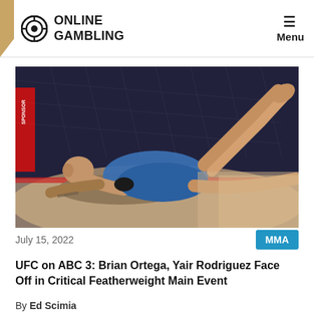ONLINE GAMBLING — Menu
[Figure (photo): Two MMA fighters grappling on the ground inside a UFC octagon, one fighter in blue shorts applying a submission hold to the other. Red sponsor banners visible in background.]
July 15, 2022
MMA
UFC on ABC 3: Brian Ortega, Yair Rodriguez Face Off in Critical Featherweight Main Event
By Ed Scimia